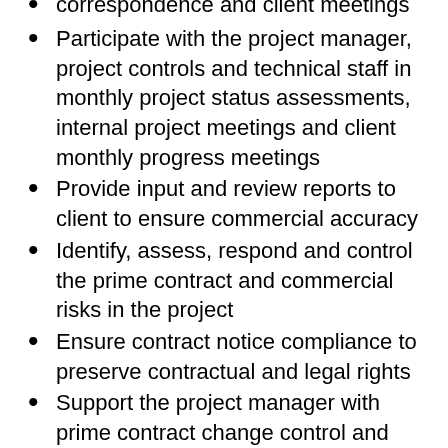correspondence and client meetings
Participate with the project manager, project controls and technical staff in monthly project status assessments, internal project meetings and client monthly progress meetings
Provide input and review reports to client to ensure commercial accuracy
Identify, assess, respond and control the prime contract and commercial risks in the project
Ensure contract notice compliance to preserve contractual and legal rights
Support the project manager with prime contract change control and claim management
Assist the project manager to establish, and communicate the prime contract baseline to the project team
Assist in maintaining the prime contract baseline as modified by change orders and